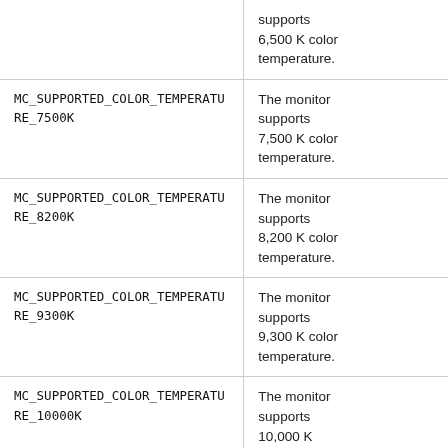| Constant | Description |
| --- | --- |
|  | supports 6,500 K color temperature. |
| MC_SUPPORTED_COLOR_TEMPERATURE_7500K | The monitor supports 7,500 K color temperature. |
| MC_SUPPORTED_COLOR_TEMPERATURE_8200K | The monitor supports 8,200 K color temperature. |
| MC_SUPPORTED_COLOR_TEMPERATURE_9300K | The monitor supports 9,300 K color temperature. |
| MC_SUPPORTED_COLOR_TEMPERATURE_10000K | The monitor supports 10,000 K color |